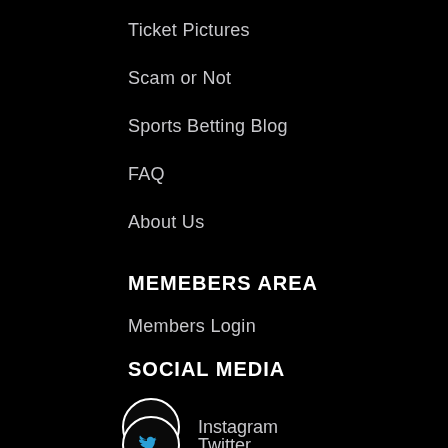Ticket Pictures
Scam or Not
Sports Betting Blog
FAQ
About Us
MEMEBERS AREA
Members Login
SOCIAL MEDIA
Instagram
Twitter